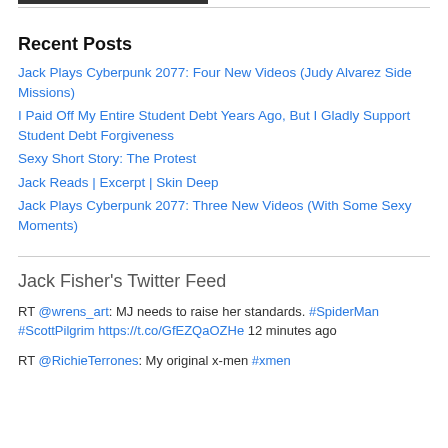Recent Posts
Jack Plays Cyberpunk 2077: Four New Videos (Judy Alvarez Side Missions)
I Paid Off My Entire Student Debt Years Ago, But I Gladly Support Student Debt Forgiveness
Sexy Short Story: The Protest
Jack Reads | Excerpt | Skin Deep
Jack Plays Cyberpunk 2077: Three New Videos (With Some Sexy Moments)
Jack Fisher's Twitter Feed
RT @wrens_art: MJ needs to raise her standards. #SpiderMan #ScottPilgrim https://t.co/GfEZQaOZHe 12 minutes ago
RT @RichieTerrones: My original x-men #xmen